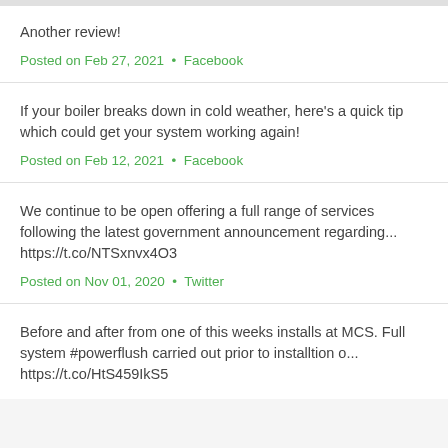Another review!
Posted on Feb 27, 2021  •  Facebook
If your boiler breaks down in cold weather, here's a quick tip which could get your system working again!
Posted on Feb 12, 2021  •  Facebook
We continue to be open offering a full range of services following the latest government announcement regarding... https://t.co/NTSxnvx4O3
Posted on Nov 01, 2020  •  Twitter
Before and after from one of this weeks installs at MCS. Full system #powerflush carried out prior to installtion o... https://t.co/HtS459IkS5